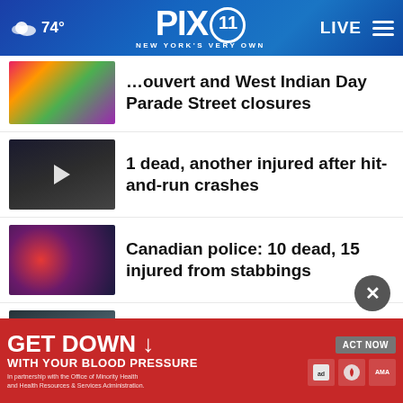PIX11 — New York's Very Own | 74° | LIVE
…ouvert and West Indian Day Parade Street closures
1 dead, another injured after hit-and-run crashes
Canadian police: 10 dead, 15 injured from stabbings
More water tested at NYCHA over arsenic concerns
More Stories ›
[Figure (screenshot): GET DOWN WITH YOUR BLOOD PRESSURE ad banner with ACT NOW button and partner logos]
GET DOWN ↓ WITH YOUR BLOOD PRESSURE — In partnership with the Office of Minority Health and Health Resources & Services Administration. ACT NOW